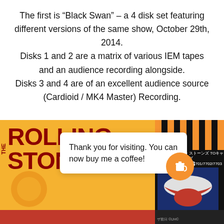The first is “Black Swan” – a 4 disk set featuring different versions of the same show, October 29th, 2014.
Disks 1 and 2 are a matrix of various IEM tapes and an audience recording alongside.
Disks 3 and 4 are of an excellent audience source (Cardioid / MK4 Master) Recording.
[Figure (photo): Rolling Stones album/event artwork visible behind a tooltip popup. Left panel shows yellow-orange background with red 'THE ROLLING STONES' text. Right black panel has orange/yellow vertical stripes and white text. An orange circle with a coffee cup icon appears at bottom right of the popup.]
Thank you for visiting. You can now buy me a coffee!